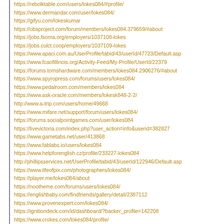https://rebolktable.com/users/lokes084/#profile/
https://www.dermandar.com/user/lokes084/
https://gifyu.com/lokeskumar
https://obsproject.com/forum/members/lokes084.379659/#about
https://jobs.fsoma.org/employers/1037108-lokes
https://jobs.culct.coop/employers/1037109-lokes
https://www.apaci.com.au/UserProfile/tabid/43/userId/47723/Default.asp
https://www.fcaofillinois.org/Activity-Feed/My-Profile/UserId/22379
https://forums.tomshardware.com/members/lokes084.2906276/#about
https://www.spyropress.com/forums/users/lokes084/
https://www.pedalroom.com/members/lokes084
https://www.ask-oracle.com/members/lokesk848-2-2/
http://www.a-trip.com/users/home/49668
https://www.mifare.net/support/forum/users/lokes084/
https://forums.socialpointgames.com/user/lokes084
https://livevictoria.com/index.php?user_action=info&userid=382827
https://www.gametabs.net/user/413868
https://www.fablabs.io/users/lokes084
https://www.helpforenglish.cz/profile/233227-lokes084
http://phillipsservices.net/UserProfile/tabid/43/userId/122946/Default.asp
https://www.lifeofpix.com/photographers/lokes084/
https://player.me/lokes084/about
https://nootheme.com/forums/users/lokes084/
https://englishbaby.com/findfriends/gallery/detail/2387112
https://www.provenexpert.com/lokes084/
https://ignitiondeck.com/id/dashboard/?backer_profile=142208
https://www.crokes.com/lokes084/profile/
https://my.archdaily.com/us/@lokesk848
https://www.rawpixel.com/lokeskumar/community-boards